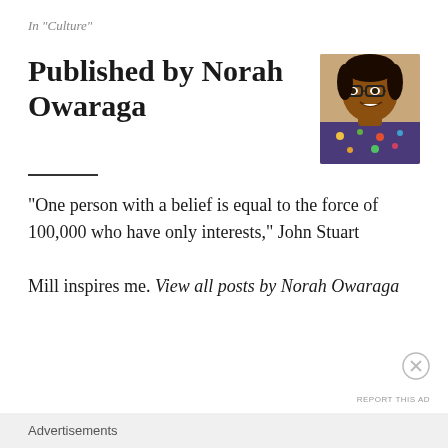In "Culture"
Published by Norah Owaraga
[Figure (photo): Headshot photo of Norah Owaraga, a smiling woman wearing glasses and a colorful patterned top, against a neutral background.]
"One person with a belief is equal to the force of 100,000 who have only interests," John Stuart Mill inspires me. View all posts by Norah Owaraga
Advertisements